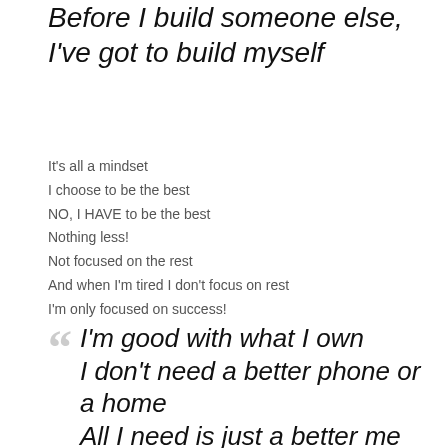Before I build someone else, I've got to build myself
It's all a mindset
I choose to be the best
NO, I HAVE to be the best
Nothing less!
Not focused on the rest
And when I'm tired I don't focus on rest
I'm only focused on success!
I'm good with what I own I don't need a better phone or a home All I need is just a better me Big goals I got big dreams